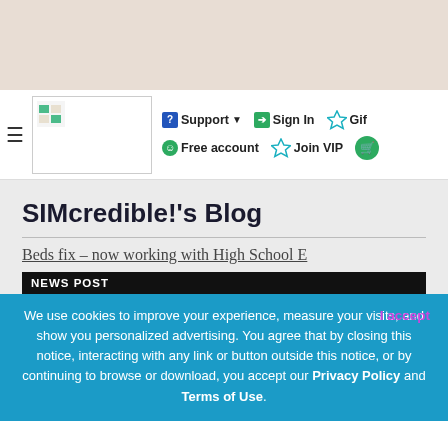[Figure (screenshot): Beige top banner area of a website]
≡  [logo]  Support ▾  Sign In  Gift  Free account  Join VIP  [cart]
SIMcredible!'s Blog
Beds fix – now working with High School E...
NEWS POST
We use cookies to improve your experience, measure your visits, and show you personalized advertising. You agree that by closing this notice, interacting with any link or button outside this notice, or by continuing to browse or download, you accept our Privacy Policy and Terms of Use.